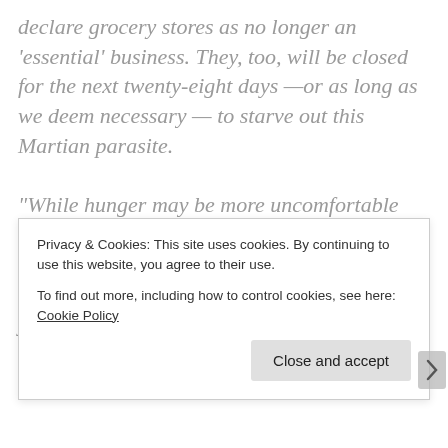declare grocery stores as no longer an 'essential' business. They, too, will be closed for the next twenty-eight days —or as long as we deem necessary — to starve out this Martian parasite.

"While hunger may be more uncomfortable than wearing a mask, again we ask you not to be selfish. Think of those around who would be devoured when the alien predator inside you breaks through and begins hunting down the sick and elderly who are too slow to outrun it.
"You also probably have no money left anyway...
Privacy & Cookies: This site uses cookies. By continuing to use this website, you agree to their use.
To find out more, including how to control cookies, see here: Cookie Policy